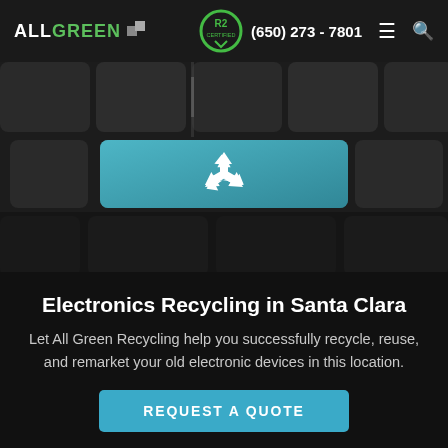ALL GREEN | (650) 273 - 7801
[Figure (photo): Close-up photo of a dark keyboard with a teal/blue key featuring a white recycling symbol icon in the center.]
Electronics Recycling in Santa Clara
Let All Green Recycling help you successfully recycle, reuse, and remarket your old electronic devices in this location.
REQUEST A QUOTE